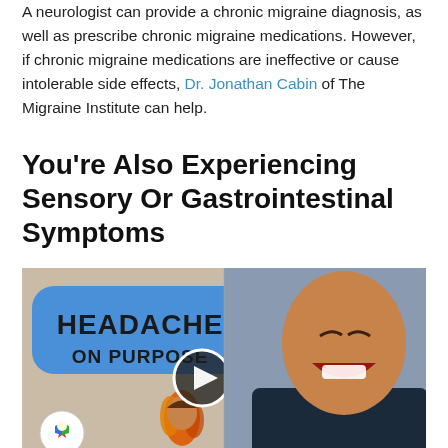A neurologist can provide a chronic migraine diagnosis, as well as prescribe chronic migraine medications. However, if chronic migraine medications are ineffective or cause intolerable side effects, Dr. Jonathan Cabin of The Migraine Institute can help.
You're Also Experiencing Sensory Or Gastrointestinal Symptoms
[Figure (screenshot): Video thumbnail showing 'HEADACHE ON PURPOSE' text on a blue rounded rectangle label on the left, and a laughing man on the right, with an animated character below, a play button in the center, and a rocket icon at bottom left.]